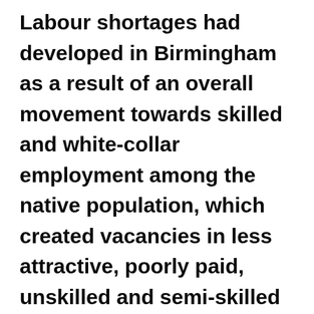Labour shortages had developed in Birmingham as a result of an overall movement towards skilled and white-collar employment among the native population, which created vacancies in less attractive, poorly paid, unskilled and semi-skilled jobs in manufacturing, particularly in metal foundries and factories, and in the transport and healthcare sectors of the public services.